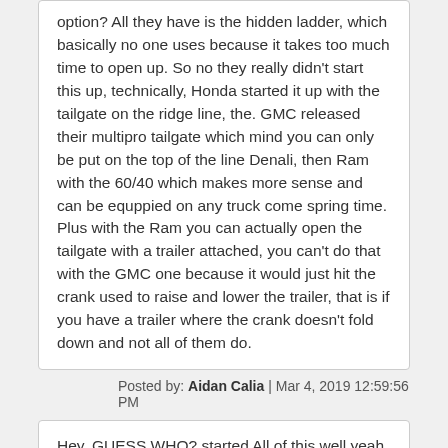option? All they have is the hidden ladder, which basically no one uses because it takes too much time to open up. So no they really didn't start this up, technically, Honda started it up with the tailgate on the ridge line, the. GMC released their multipro tailgate which mind you can only be put on the top of the line Denali, then Ram with the 60/40 which makes more sense and can be equppied on any truck come spring time. Plus with the Ram you can actually open the tailgate with a trailer attached, you can't do that with the GMC one because it would just hit the crank used to raise and lower the trailer, that is if you have a trailer where the crank doesn't fold down and not all of them do.
Posted by: Aidan Calia | Mar 4, 2019 12:59:56 PM
Hey, GUESS WHO? started All of this well yeah you guess right FORD. Other manufacturers always following the leader, FORD.

Really? Then doesn't ford have a special tailgate